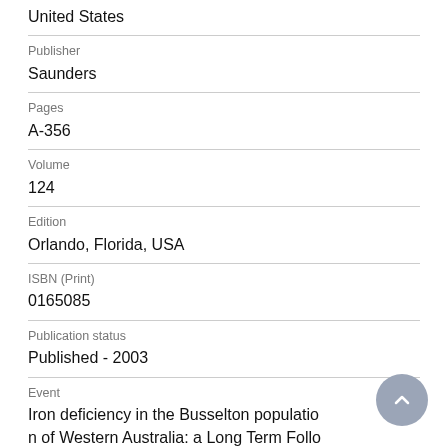United States
Publisher
Saunders
Pages
A-356
Volume
124
Edition
Orlando, Florida, USA
ISBN (Print)
0165085
Publication status
Published - 2003
Event
Iron deficiency in the Busselton population of Western Australia: a Long Term Follo